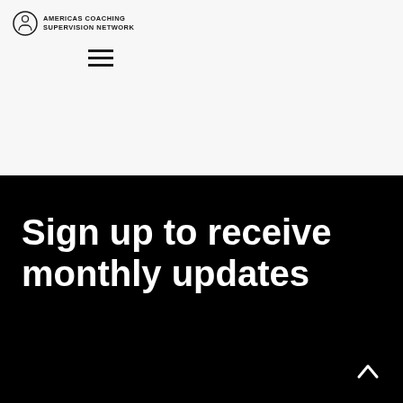AMERICAS COACHING SUPERVISION NETWORK
[Figure (other): Hamburger menu icon (three horizontal lines)]
Sign up to receive monthly updates